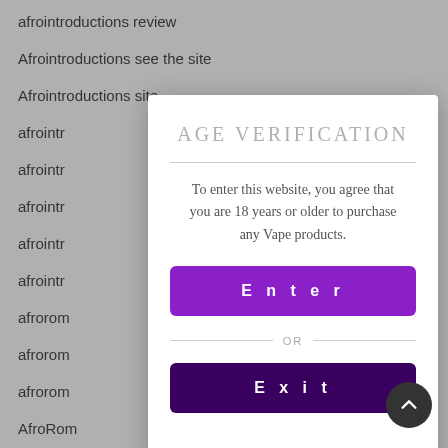afrointroductions review
Afrointroductions see the site
Afrointroductions site
afrointr
afrointr
afrointr
afrointr
afrointr
afrorom
afrorom
afrorom
AfroRom
afrorom
[Figure (screenshot): Age verification modal dialog with title AGE VERIFICATION, text 'To enter this website, you agree that you are 18 years or older to purchase any Vape products.', a purple Enter button, an OR divider, and a dark purple Exit button.]